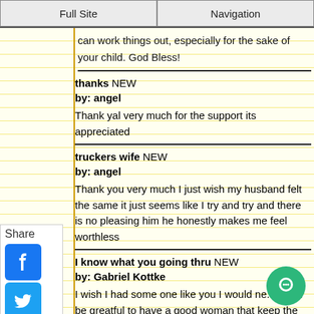Full Site | Navigation
can work things out, especially for the sake of your child. God Bless!
thanks NEW
by: angel
Thank yal very much for the support its appreciated
truckers wife NEW
by: angel
Thank you very much I just wish my husband felt the same it just seems like I try and try and there is no pleasing him he honestly makes me feel worthless
I know what you going thru NEW
by: Gabriel Kottke
I wish I had some one like you I would ne... with I be greatful to have a good woman that keep the house clean watch over the kids and make sure